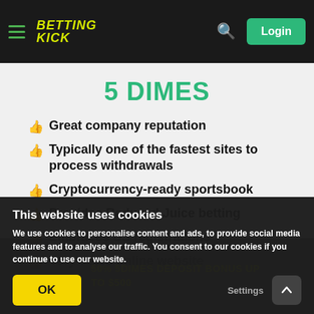Betting Kick — Login
5 DIMES
Great company reputation
Typically one of the fastest sites to process withdrawals
Cryptocurrency-ready sportsbook
Provides Reduced Juice betting
Embraces US registrations
Very dated online website
50% 5DIMES DEPOSIT BONUS UP TO $500
This website uses cookies
We use cookies to personalise content and ads, to provide social media features and to analyse our traffic. You consent to our cookies if you continue to use our website.
OK
Settings